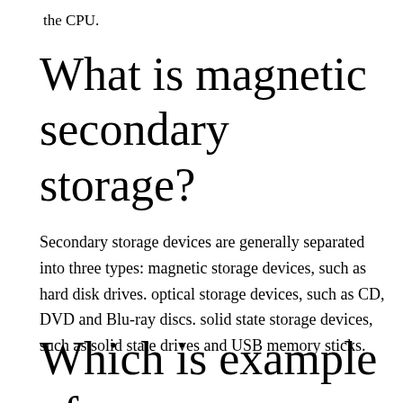the CPU.
What is magnetic secondary storage?
Secondary storage devices are generally separated into three types: magnetic storage devices, such as hard disk drives. optical storage devices, such as CD, DVD and Blu-ray discs. solid state storage devices, such as solid state drives and USB memory sticks.
Which is example of